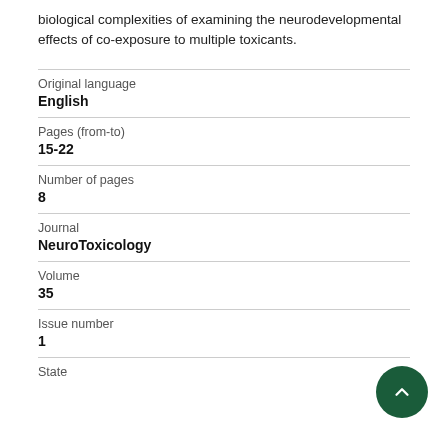biological complexities of examining the neurodevelopmental effects of co-exposure to multiple toxicants.
| Field | Value |
| --- | --- |
| Original language | English |
| Pages (from-to) | 15-22 |
| Number of pages | 8 |
| Journal | NeuroToxicology |
| Volume | 35 |
| Issue number | 1 |
| State |  |